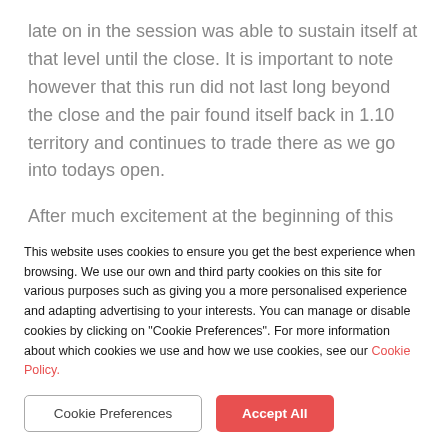late on in the session was able to sustain itself at that level until the close. It is important to note however that this run did not last long beyond the close and the pair found itself back in 1.10 territory and continues to trade there as we go into todays open.
After much excitement at the beginning of this
This website uses cookies to ensure you get the best experience when browsing. We use our own and third party cookies on this site for various purposes such as giving you a more personalised experience and adapting advertising to your interests. You can manage or disable cookies by clicking on "Cookie Preferences". For more information about which cookies we use and how we use cookies, see our Cookie Policy.